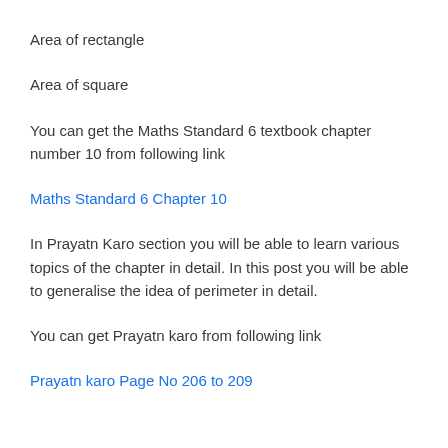Area of rectangle
Area of square
You can get the Maths Standard 6 textbook chapter number 10 from following link
Maths Standard 6 Chapter 10
In Prayatn Karo section you will be able to learn various topics of the chapter in detail. In this post you will be able to generalise the idea of perimeter in detail.
You can get Prayatn karo from following link
Prayatn karo Page No 206 to 209